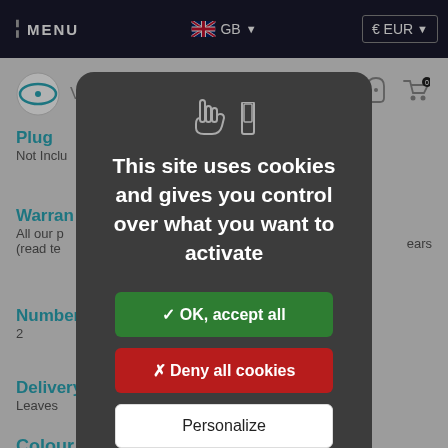| | MENU   GB   € EUR
[Figure (screenshot): Background website content showing product page with logo, Plug section, Warranty section, Number section, Delivery section, and Colour section partially visible]
This site uses cookies and gives you control over what you want to activate
✓ OK, accept all
✗ Deny all cookies
Personalize